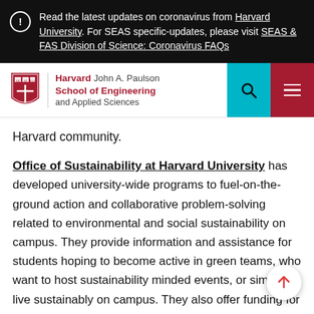Read the latest updates on coronavirus from Harvard University. For SEAS specific-updates, please visit SEAS & FAS Division of Science: Coronavirus FAQs
[Figure (logo): Harvard John A. Paulson School of Engineering and Applied Sciences logo with Harvard shield, search button, and hamburger menu]
Harvard community.
Office of Sustainability at Harvard University has developed university-wide programs to fuel-on-the-ground action and collaborative problem-solving related to environmental and social sustainability on campus. They provide information and assistance for students hoping to become active in green teams, who want to host sustainability minded events, or simply live sustainably on campus. They also offer funding for creative student projects that contribute to Harvard's commitment to climate and health, and which help create a